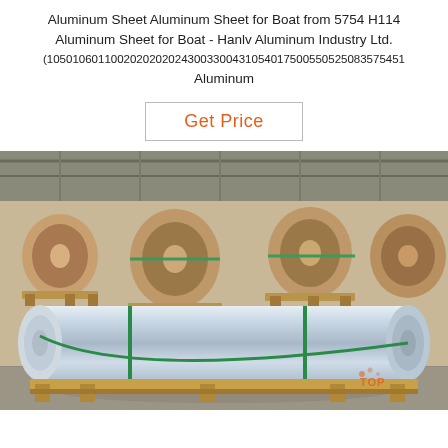Aluminum Sheet Aluminum Sheet for Boat from 5754 H114 Aluminum Sheet for Boat - Hanlv Aluminum Industry Ltd. (1050106011002020202430033004310540175005505250835754510003003003004 Aluminum
Get Price
[Figure (photo): Warehouse photo showing large rolls of aluminum sheet coils wrapped in brown paper, stacked on wooden pallets. A large shiny silver aluminum coil is in the foreground on wooden boards. Green straps secure the rolls. A logo watermark appears in the lower right corner.]